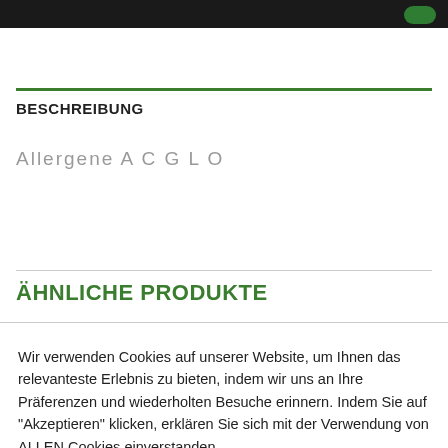BESCHREIBUNG
Allergene A C G L O
ÄHNLICHE PRODUKTE
Wir verwenden Cookies auf unserer Website, um Ihnen das relevanteste Erlebnis zu bieten, indem wir uns an Ihre Präferenzen und wiederholten Besuche erinnern. Indem Sie auf "Akzeptieren" klicken, erklären Sie sich mit der Verwendung von ALLEN Cookies einverstanden.